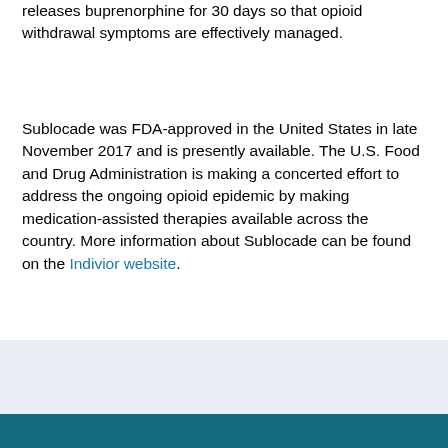releases buprenorphine for 30 days so that opioid withdrawal symptoms are effectively managed.
Sublocade was FDA-approved in the United States in late November 2017 and is presently available. The U.S. Food and Drug Administration is making a concerted effort to address the ongoing opioid epidemic by making medication-assisted therapies available across the country. More information about Sublocade can be found on the Indivior website.